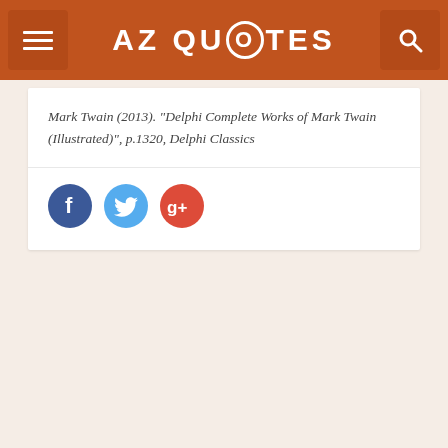AZ QUOTES
Mark Twain (2013). “Delphi Complete Works of Mark Twain (Illustrated)”, p.1320, Delphi Classics
[Figure (other): Social media share buttons: Facebook (blue circle), Twitter (light blue circle), Google+ (red circle)]